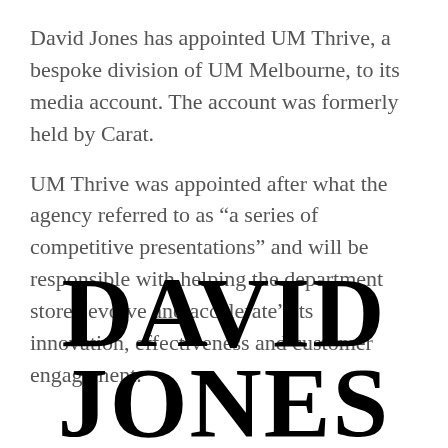David Jones has appointed UM Thrive, a bespoke division of UM Melbourne, to its media account. The account was formerly held by Carat.
UM Thrive was appointed after what the agency referred to as “a series of competitive presentations” and will be responsible with helping the department store “evolve and accelerate” its innovation, effectiveness and customer engagement.
[Figure (logo): David Jones logo in large bold serif black text on white background]